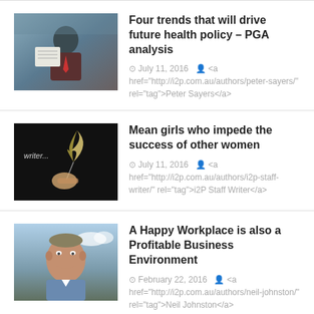[Figure (photo): Photo of a man in suit reading newspaper]
Four trends that will drive future health policy – PGA analysis
⊙ July 11, 2016  👤 <a href="http://i2p.com.au/authors/peter-sayers/" rel="tag">Peter Sayers</a>
[Figure (photo): Photo of a hand writing with a quill pen on dark background with text 'writer...']
Mean girls who impede the success of other women
⊙ July 11, 2016  👤 <a href="http://i2p.com.au/authors/i2p-staff-writer/" rel="tag">i2P Staff Writer</a>
[Figure (photo): Headshot photo of an older man outdoors]
A Happy Workplace is also a Profitable Business Environment
⊙ February 22, 2016  👤 <a href="http://i2p.com.au/authors/neil-johnston/" rel="tag">Neil Johnston</a>